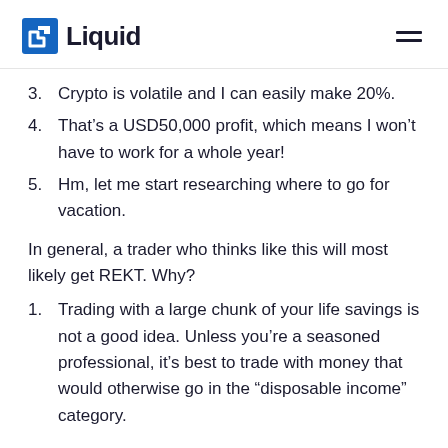Liquid
3. Crypto is volatile and I can easily make 20%.
4. That’s a USD50,000 profit, which means I won’t have to work for a whole year!
5. Hm, let me start researching where to go for vacation.
In general, a trader who thinks like this will most likely get REKT. Why?
1. Trading with a large chunk of your life savings is not a good idea. Unless you’re a seasoned professional, it’s best to trade with money that would otherwise go in the “disposable income” category.